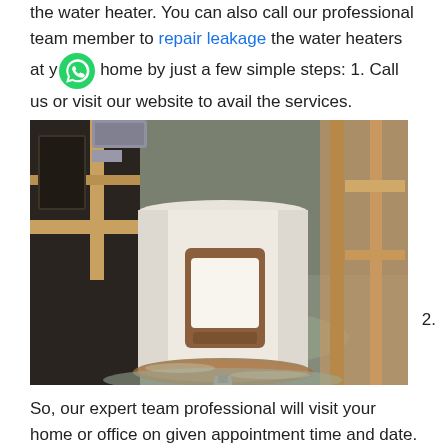the water heater. You can also call our professional team member to repair leakage the water heaters at your home by just a few simple steps: 1. Call us or visit our website to avail the services.
[Figure (photo): A white cylindrical water heater standing on a flooded concrete floor in a basement. Water is visible pooled around the base of the heater. The heater has a brown rectangular panel on its front. Wood framing and ductwork visible in the background.]
2.
So, our expert team professional will visit your home or office on given appointment time and date. 3. He will